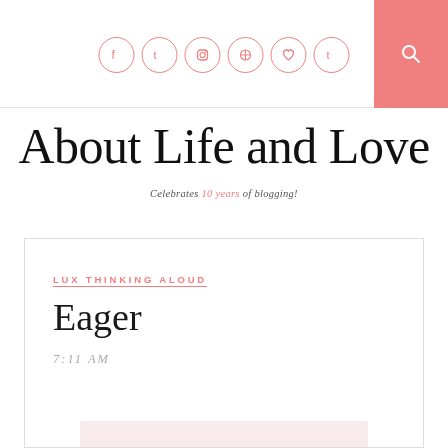Social icons: Facebook, Twitter, Instagram, Pinterest, Heart, Tumblr; Search button
About Life and Love
Celebrates 10 years of blogging!
LUX THINKING ALOUD
Eager
7:11 AM
[Figure (photo): Partial pink/blush colored image at bottom of card]